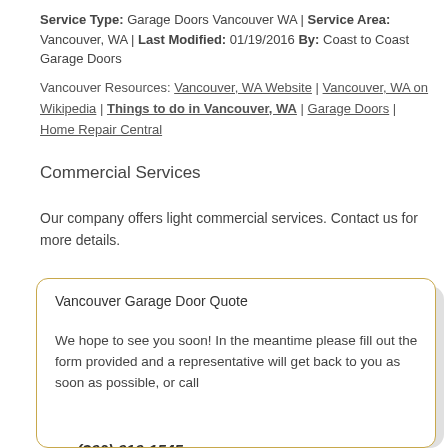Service Type: Garage Doors Vancouver WA | Service Area: Vancouver, WA | Last Modified: 01/19/2016 By: Coast to Coast Garage Doors
Vancouver Resources: Vancouver, WA Website | Vancouver, WA on Wikipedia | Things to do in Vancouver, WA | Garage Doors | Home Repair Central
Commercial Services
Our company offers light commercial services. Contact us for more details.
Vancouver Garage Door Quote
We hope to see you soon! In the meantime please fill out the form provided and a representative will get back to you as soon as possible, or call
(360) 616-1545
.
Your Name (required)